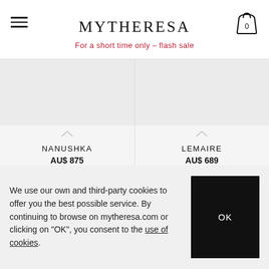MYTHERESA
For a short time only – flash sale
NANUSHKA
AU$ 875
LEMAIRE
AU$ 689
We use our own and third-party cookies to offer you the best possible service. By continuing to browse on mytheresa.com or clicking on "OK", you consent to the use of cookies.